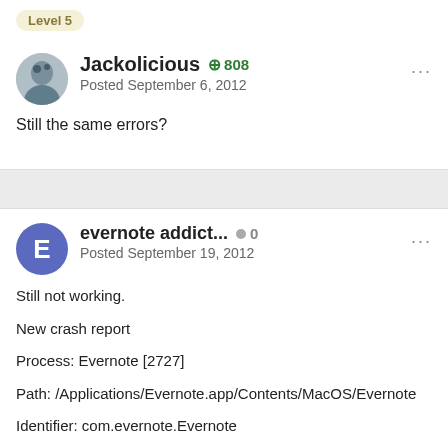Level 5
Jackolicious +808 Posted September 6, 2012
Still the same errors?
evernote addict... 0 Posted September 19, 2012
Still not working.
New crash report
Process: Evernote [2727]
Path: /Applications/Evernote.app/Contents/MacOS/Evernote
Identifier: com.evernote.Evernote